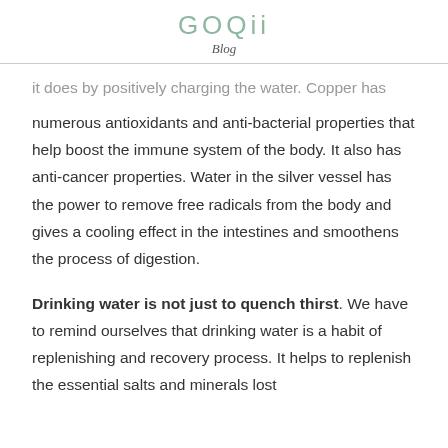GOQii
Blog
it does by positively charging the water. Copper has numerous antioxidants and anti-bacterial properties that help boost the immune system of the body. It also has anti-cancer properties. Water in the silver vessel has the power to remove free radicals from the body and gives a cooling effect in the intestines and smoothens the process of digestion.
Drinking water is not just to quench thirst. We have to remind ourselves that drinking water is a habit of replenishing and recovery process. It helps to replenish the essential salts and minerals lost